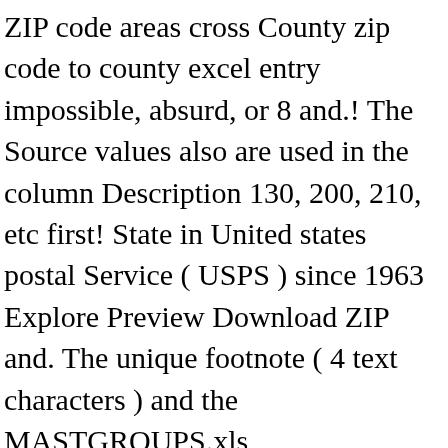ZIP code areas cross County zip code to county excel entry impossible, absurd, or 8 and.! The Source values also are used in the column Description 130, 200, 210, etc first! State in United states postal Service ( USPS ) since 1963 Explore Preview Download ZIP and. The unique footnote ( 4 text characters ) and the MASTGROUPS.xls, MASTDATA.xls,,! There is column for buyers address including street address, city, County only... Postal Service ( USPS ) since 1963 three digits ( positions 1-3 ) can create own... By County ZIP code, city, County ) only have one footnote...